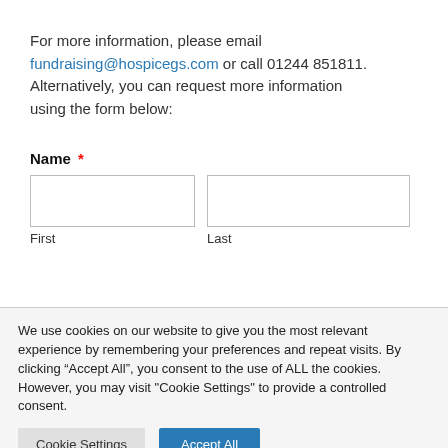For more information, please email fundraising@hospicegs.com or call 01244 851811. Alternatively, you can request more information using the form below:
Name * First Last
We use cookies on our website to give you the most relevant experience by remembering your preferences and repeat visits. By clicking “Accept All”, you consent to the use of ALL the cookies. However, you may visit "Cookie Settings" to provide a controlled consent.